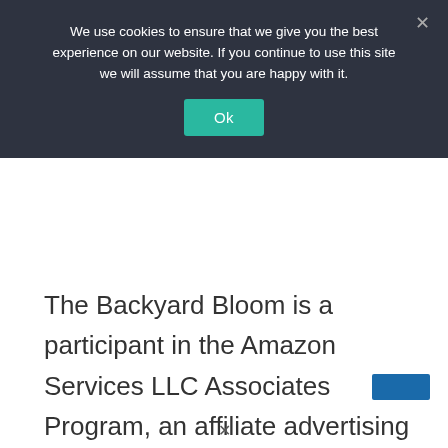We use cookies to ensure that we give you the best experience on our website. If you continue to use this site we will assume that you are happy with it.
Ok
The Backyard Bloom is a participant in the Amazon Services LLC Associates Program, an affiliate advertising program designed to provide a means to earn fees by linking to Amazon.com and affiliated sites.